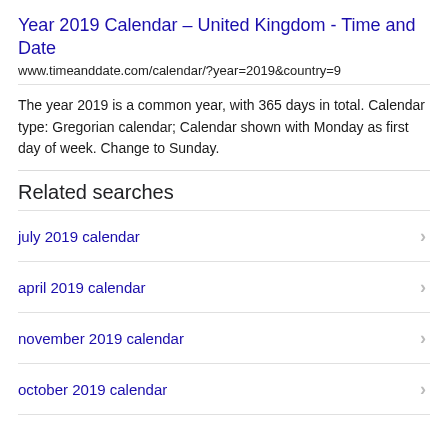Year 2019 Calendar – United Kingdom - Time and Date
www.timeanddate.com/calendar/?year=2019&country=9
The year 2019 is a common year, with 365 days in total. Calendar type: Gregorian calendar; Calendar shown with Monday as first day of week. Change to Sunday.
Related searches
july 2019 calendar
april 2019 calendar
november 2019 calendar
october 2019 calendar